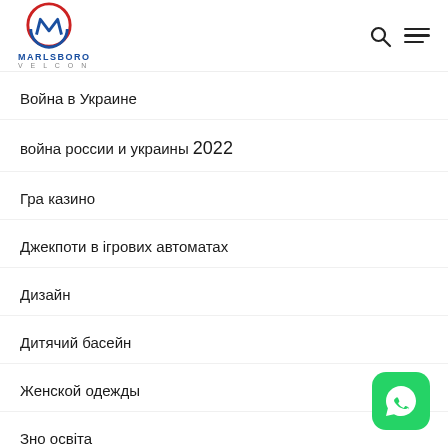MARLSBORO VELCON
Война в Украине
война россии и украины 2022
Гра казино
Джекпоти в ігрових автоматах
Дизайн
Дитячий басейн
Женской одежды
Зно освіта
[Figure (logo): WhatsApp floating button icon, green rounded square with white phone handset icon]